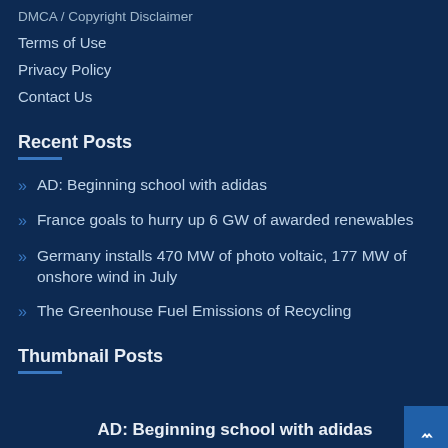DMCA / Copyright Disclaimer
Terms of Use
Privacy Policy
Contact Us
Recent Posts
AD: Beginning school with adidas
France goals to hurry up 6 GW of awarded renewables
Germany installs 470 MW of photo voltaic, 177 MW of onshore wind in July
The Greenhouse Fuel Emissions of Recycling
Thumbnail Posts
AD: Beginning school with adidas